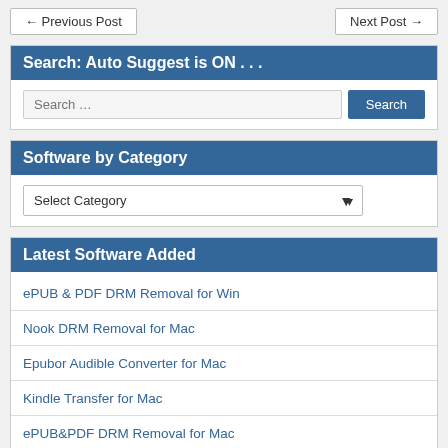← Previous Post
Next Post →
Search: Auto Suggest is ON . . .
Search …
Software by Category
Select Category
Latest Software Added
ePUB & PDF DRM Removal for Win
Nook DRM Removal for Mac
Epubor Audible Converter for Mac
Kindle Transfer for Mac
ePUB&PDF DRM Removal for Mac
Any DRM Removal for Win